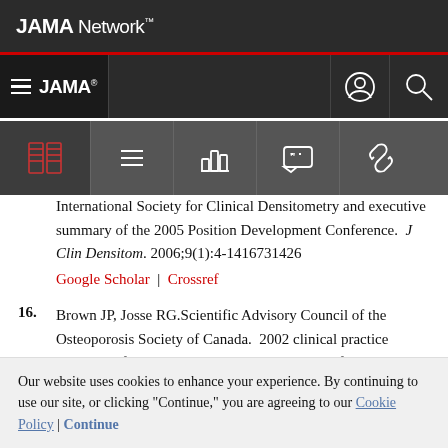[Figure (screenshot): JAMA Network website header with navigation bar showing JAMA logo, hamburger menu, toolbar icons, and article reference content]
International Society for Clinical Densitometry and executive summary of the 2005 Position Development Conference. J Clin Densitom. 2006;9(1):4-1416731426
Google Scholar | Crossref
16. Brown JP, Josse RG.Scientific Advisory Council of the Osteoporosis Society of Canada. 2002 clinical practice guidelines for the diagnosis and management of osteoporosis in
Our website uses cookies to enhance your experience. By continuing to use our site, or clicking "Continue," you are agreeing to our Cookie Policy | Continue